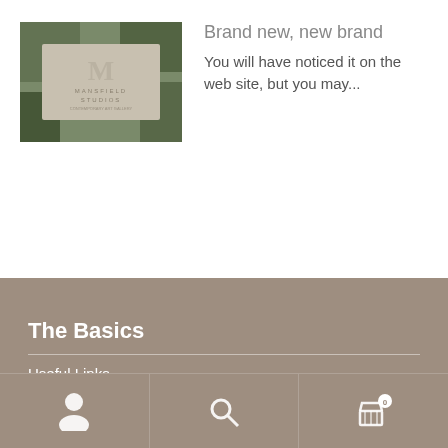[Figure (photo): Photo of a stone sign reading MANSFIELD STUDIOS, Contemporary Art Gallery, with greenery in the background]
Brand new, new brand
You will have noticed it on the web site, but you may...
The Basics
Useful Links
Blog
User icon | Search icon | Cart icon (0)